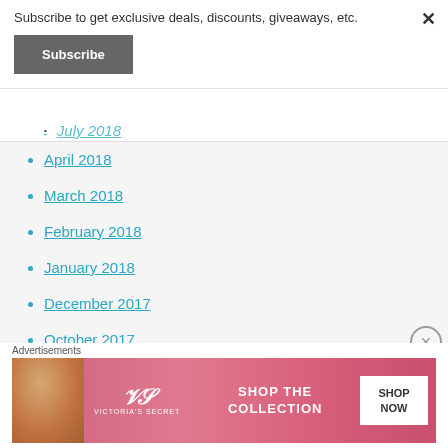Subscribe to get exclusive deals, discounts, giveaways, etc.
Subscribe
July 2018
April 2018
March 2018
February 2018
January 2018
December 2017
October 2017
September 2017
Advertisements
[Figure (photo): Victoria's Secret advertisement banner with model, logo, 'SHOP THE COLLECTION' text and 'SHOP NOW' button]